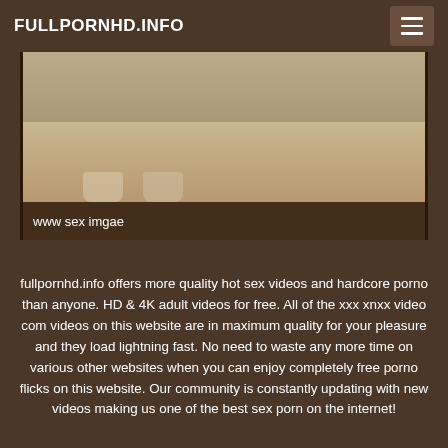FULLPORNHD.INFO
[Figure (photo): Partial view of a person's legs/feet on a light-colored floor surface]
www sex imgae
fullpornhd.info offers more quality hot sex videos and hardcore porno than anyone. HD & 4K adult videos for free. All of the xxx xnxx video com videos on this website are in maximum quality for your pleasure and they load lightning fast. No need to waste any more time on various other websites when you can enjoy completely free porno flicks on this website. Our community is constantly updating with new videos making us one of the best sex porn on the internet!